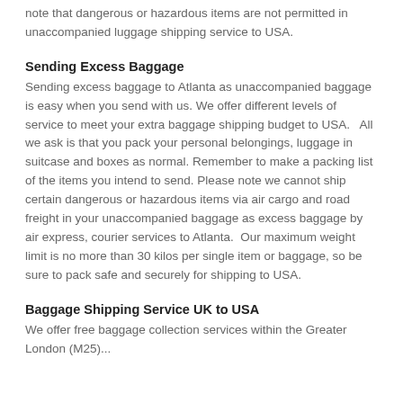note that dangerous or hazardous items are not permitted in unaccompanied luggage shipping service to USA.
Sending Excess Baggage
Sending excess baggage to Atlanta as unaccompanied baggage is easy when you send with us. We offer different levels of service to meet your extra baggage shipping budget to USA.   All we ask is that you pack your personal belongings, luggage in suitcase and boxes as normal. Remember to make a packing list of the items you intend to send. Please note we cannot ship certain dangerous or hazardous items via air cargo and road freight in your unaccompanied baggage as excess baggage by air express, courier services to Atlanta.  Our maximum weight limit is no more than 30 kilos per single item or baggage, so be sure to pack safe and securely for shipping to USA.
Baggage Shipping Service UK to USA
We offer free baggage collection services within the Greater London (M25)...